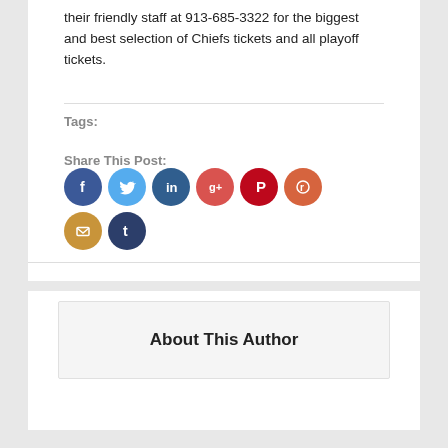their friendly staff at 913-685-3322 for the biggest and best selection of Chiefs tickets and all playoff tickets.
Tags:
[Figure (infographic): Share This Post: Row of social media icon circles — Facebook (blue), Twitter (light blue), LinkedIn (dark blue), Google+ (red-pink), Pinterest (red), Reddit (orange), Email (gold/yellow), Tumblr (dark navy)]
About This Author